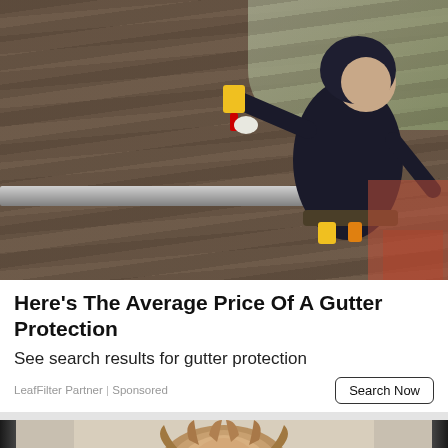[Figure (photo): A worker in a dark hoodie and work clothes installs or inspects gutters on a residential roof with brown shingles, using a power tool. Trees and a brick house are visible in the background.]
Here's The Average Price Of A Gutter Protection
See search results for gutter protection
LeafFilter Partner | Sponsored
[Figure (photo): Partial view of a decorative lion head figurine or wall ornament with flowing mane, against a light background.]